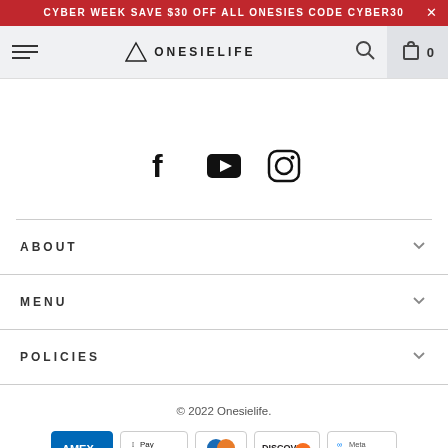CYBER WEEK SAVE $30 OFF ALL ONESIES CODE CYBER30
[Figure (screenshot): ONESIELIFE navigation bar with hamburger menu, triangle logo, search and cart icons]
[Figure (infographic): Social media icons: Facebook, YouTube, Instagram]
ABOUT
MENU
POLICIES
© 2022 Onesielife.
[Figure (infographic): Payment icons: Amex, Apple Pay, Diners Club, Discover, Meta Pay]